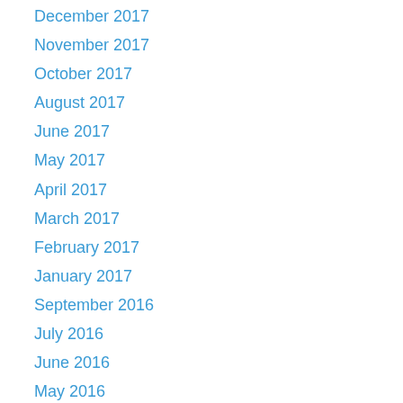December 2017
November 2017
October 2017
August 2017
June 2017
May 2017
April 2017
March 2017
February 2017
January 2017
September 2016
July 2016
June 2016
May 2016
April 2016
March 2016
February 2016
January 2016
December 2015
November 2015